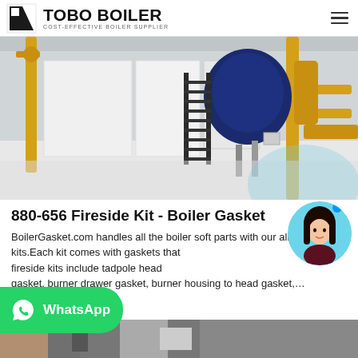TOBO BOILER — COST-EFFECTIVE BOILER SUPPLIER
[Figure (photo): Industrial boiler room with yellow pipes, blue boiler unit, black metal staircase, and white floor]
880-656 Fireside Kit - Boiler Gasket
BoilerGasket.com handles all the boiler soft parts with our all-in- kits.Each kit comes with gaskets that fireside kits include tadpole head gasket, burner drawer gasket, burner housing to head gasket,...
[Figure (photo): Bottom strip partial image of boiler equipment]